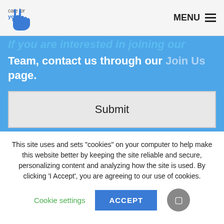care for you — MENU
Team, contact us through our Join Us page.
Submit
[Figure (illustration): Blue background section with a dark navy triangle/chevron shape pointing upward at the bottom]
This site uses and sets "cookies" on your computer to help make this website better by keeping the site reliable and secure, personalizing content and analyzing how the site is used. By clicking 'I Accept', you are agreeing to our use of cookies.
Cookie settings
ACCEPT